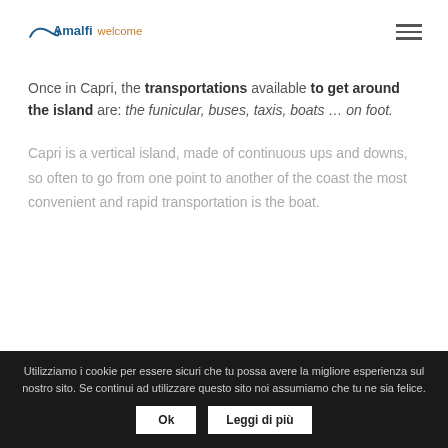Amalfi welcome [logo + hamburger menu]
Once in Capri, the transportations available to get around the island are: the funicular, buses, taxis, boats … on foot.
Capri is a vertical island, made of continuous ups and downs, so often to go from one point to another of the coast the most convenient and rapid transportation is the boat.
Utilizziamo i cookie per essere sicuri che tu possa avere la migliore esperienza sul nostro sito. Se continui ad utilizzare questo sito noi assumiamo che tu ne sia felice. Ok Leggi di più